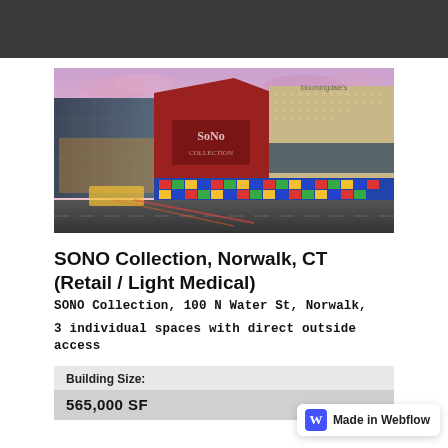[Figure (photo): Exterior photo of SONO Collection shopping center in Norwalk, CT at dusk/night. Features a red angular facade with 'SoNo Collection' signage, colorful geometric mural on lower level, glass curtain walls, and Bloomingdale's signage visible in background. Purple-pink sky.]
SONO Collection, Norwalk, CT (Retail / Light Medical)
SONO Collection, 100 N Water St, Norwalk,
3 individual spaces with direct outside access
| Building Size: |
| --- |
| 565,000 SF |